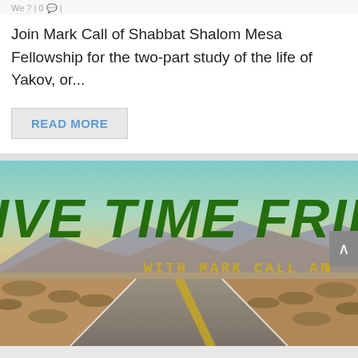We ? | 0 💬 |
Join Mark Call of Shabbat Shalom Mesa Fellowship for the two-part study of the life of Yakov, or...
READ MORE
[Figure (photo): Banner image with text 'LIVE TIME FRIDAY WITH MARK CALL AND...' overlaid on a desert highway road photo with mountains in background and sky gradient from blue-green to orange.]